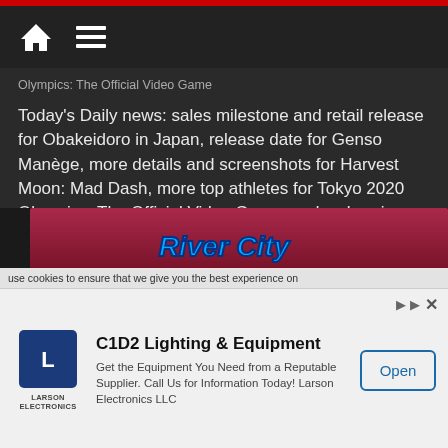Olympics: The Official Video Game
Today's Daily news: sales milestone and retail release for Obakeidoro in Japan, release date for Genso Manège, more details and screenshots for Harvest Moon: Mad Dash, more top athletes for Tokyo 2020 Olympics: The Official Video Game, and a charging stand for the Nintendo Switch Lite!
Read more
[Figure (screenshot): River City banner image with colorful text logo on dark/red background]
use cookies to ensure that we give you the best experience on
[Figure (logo): Larson Electronics logo — blue square with white L icon, LARSON ELECTRONICS text below]
C1D2 Lighting & Equipment
Get the Equipment You Need from a Reputable Supplier. Call Us for Information Today! Larson Electronics LLC
Open